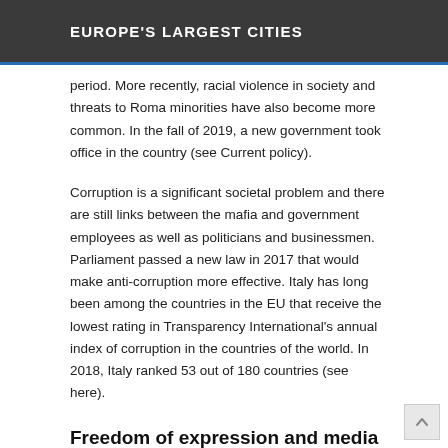EUROPE'S LARGEST CITIES
period. More recently, racial violence in society and threats to Roma minorities have also become more common. In the fall of 2019, a new government took office in the country (see Current policy).
Corruption is a significant societal problem and there are still links between the mafia and government employees as well as politicians and businessmen. Parliament passed a new law in 2017 that would make anti-corruption more effective. Italy has long been among the countries in the EU that receive the lowest rating in Transparency International's annual index of corruption in the countries of the world. In 2018, Italy ranked 53 out of 180 countries (see here).
Freedom of expression and media
Italy's Constitution guarantees freedom of expression and freedom of the press. Defamation is prohibited and can result